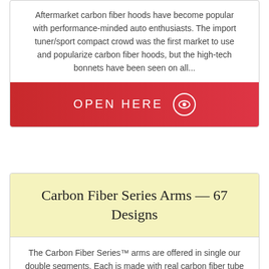Aftermarket carbon fiber hoods have become popular with performance-minded auto enthusiasts. The import tuner/sport compact crowd was the first market to use and popularize carbon fiber hoods, but the high-tech bonnets have been seen on all...
[Figure (other): Red button/banner with text OPEN HERE and an eye icon]
Carbon Fiber Series Arms — 67 Designs
The Carbon Fiber Series™ arms are offered in single our double segments. Each is made with real carbon fiber tube for functional strength as well as stunning ...